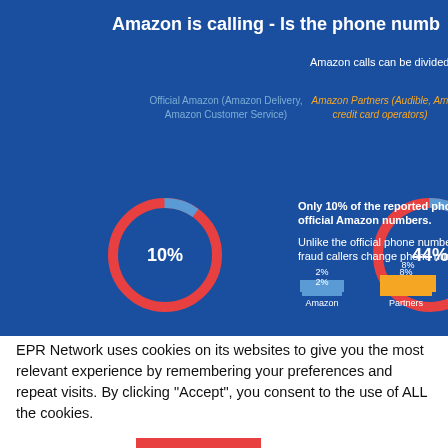[Figure (infographic): Amazon infographic showing phone number statistics. Title: 'Amazon is calling - Is the phone numb...' with donut charts showing 10% (Official Amazon) and 44% (Amazon Partners) and a bar chart showing 2% Amazon, 8% Partners, 90% Scams.]
EPR Network uses cookies on its websites to give you the most relevant experience by remembering your preferences and repeat visits. By clicking "Accept", you consent to the use of ALL the cookies.
Cookie settings
ACCEPT